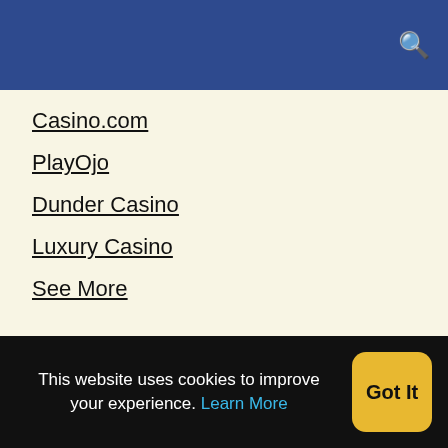Casino.com
PlayOjo
Dunder Casino
Luxury Casino
See More
Popular Pages
Best Online Casinos
Top 30 Online Slots
Local Casinos
This website uses cookies to improve your experience. Learn More